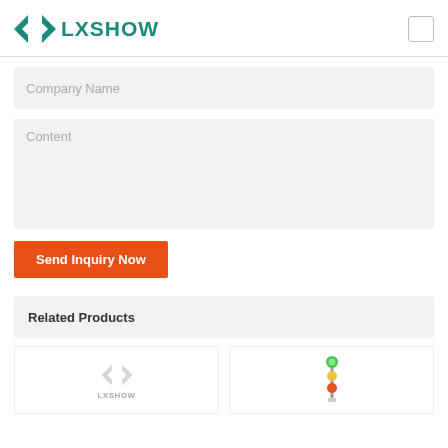LXSHOW
Company Name
Content
Send Inquiry Now
Related Products
[Figure (logo): LXSHOW logo placeholder in product card (gray)]
[Figure (photo): Product image in second card (partially visible, appears to be a small device or component)]